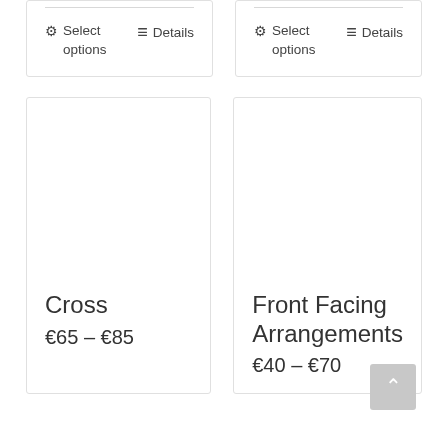⚙ Select options
≡ Details
⚙ Select options
≡ Details
Cross
€65 – €85
Front Facing Arrangements
€40 – €70